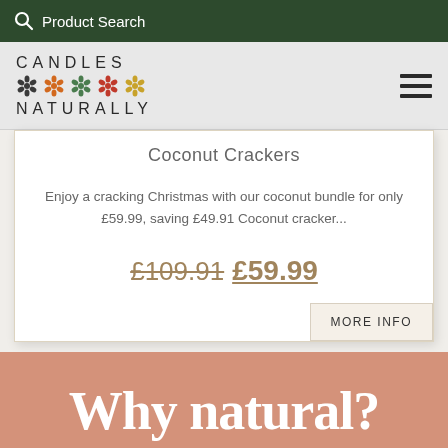Product Search
[Figure (logo): Candles Naturally logo with colorful flower icons]
Coconut Crackers
Enjoy a cracking Christmas with our coconut bundle for only £59.99, saving £49.91 Coconut cracker...
£109.91 £59.99
MORE INFO
Why natural?